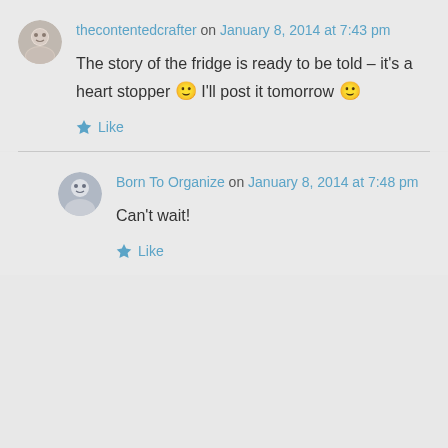thecontentedcrafter on January 8, 2014 at 7:43 pm
The story of the fridge is ready to be told – it's a heart stopper 🙂 I'll post it tomorrow 🙂
Like
Born To Organize on January 8, 2014 at 7:48 pm
Can't wait!
Like